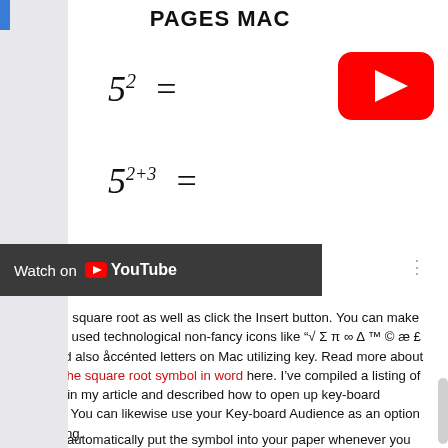PAGES MAC
[Figure (logo): YouTube play button logo (red rounded rectangle with white triangle)]
[Figure (screenshot): Watch on YouTube dark bar overlay]
Select the square root as well as click the Insert button. You can make frequently used technological non-fancy icons like "√ Σ π ∞ Δ ™ © æ £ cents" and also åccénted letters on Mac utilizing key. Read more about where is the square root symbol in word here. I've compiled a listing of shortcuts in my article and described how to open up key-board audience. You can likewise use your Key-board Audience as an option to my listing.
Word will automatically put the symbol into your paper whenever you type SQRT. The duplicate and also paste